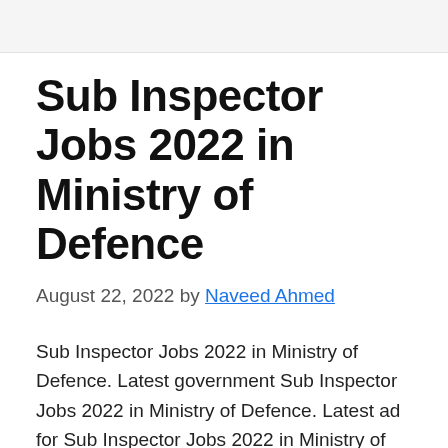Sub Inspector Jobs 2022 in Ministry of Defence
August 22, 2022 by Naveed Ahmed
Sub Inspector Jobs 2022 in Ministry of Defence. Latest government Sub Inspector Jobs 2022 in Ministry of Defence. Latest ad for Sub Inspector Jobs 2022 in Ministry of Defence. We have got this advertisement from The Daily Jang Newspaper on the date of 22/08/2022. Interested candidates who